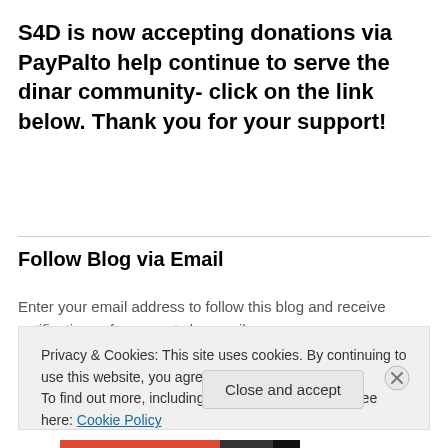S4D is now accepting donations via PayPalto help continue to serve the dinar community- click on the link below. Thank you for your support!
Follow Blog via Email
Enter your email address to follow this blog and receive notifications of new posts by email.
Privacy & Cookies: This site uses cookies. By continuing to use this website, you agree to their use.
To find out more, including how to control cookies, see here: Cookie Policy